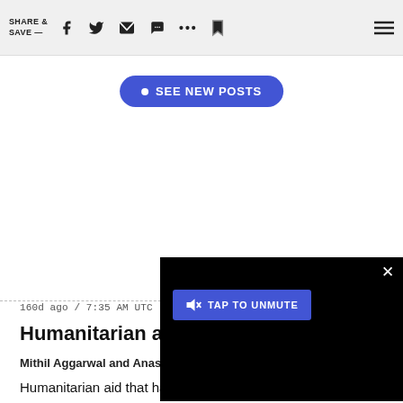SHARE & SAVE —
• SEE NEW POSTS
160d ago / 7:35 AM UTC
Humanitarian aid
Mithil Aggarwal and Anast
[Figure (screenshot): Video overlay with TAP TO UNMUTE button on black background with X close button]
Humanitarian aid that had been stalled has been let into